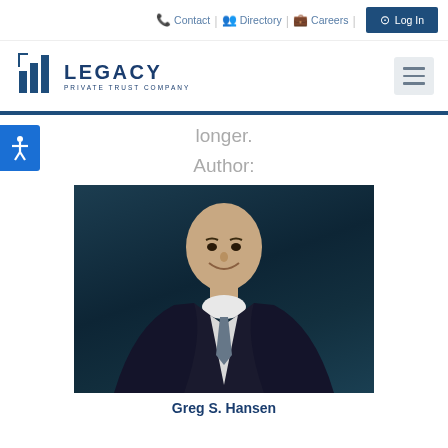Contact | Directory | Careers | Log In
[Figure (logo): Legacy Private Trust Company logo with bar chart icon]
longer.
Author:
[Figure (photo): Professional headshot of Greg S. Hansen, a man in a dark suit with a tie, smiling against a dark teal background]
Greg S. Hansen